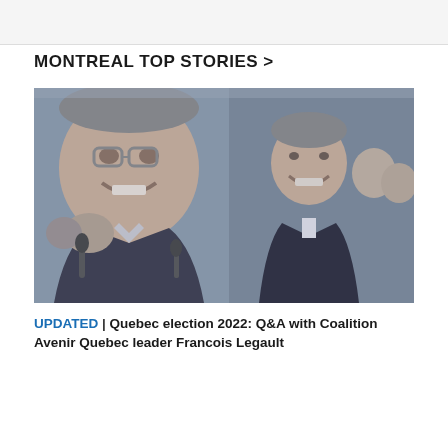MONTREAL TOP STORIES >
[Figure (photo): News photo showing a politician smiling in front of a large campaign poster of a man's face, surrounded by people with microphones]
UPDATED | Quebec election 2022: Q&A with Coalition Avenir Quebec leader Francois Legault